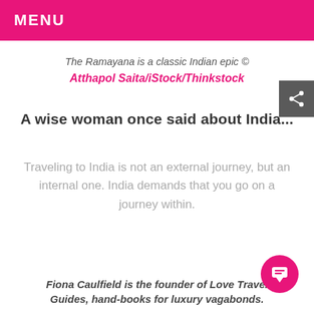MENU
The Ramayana is a classic Indian epic © Atthapol Saita/iStock/Thinkstock
A wise woman once said about India...
Traveling to India is not an external journey, but an internal one. India demands that you go on a journey within.
Fiona Caulfield is the founder of Love Travel Guides, hand-books for luxury vagabonds.